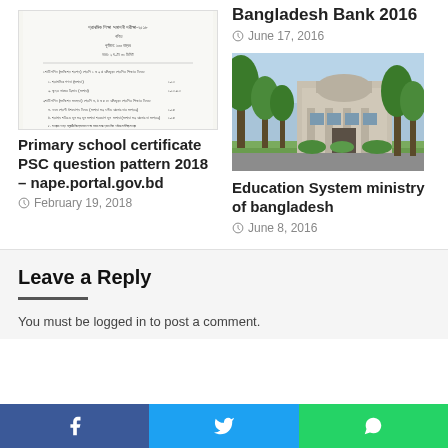Bangladesh Bank 2016
June 17, 2016
[Figure (illustration): Scanned document showing Primary school certificate PSC question pattern in Bengali text]
Primary school certificate PSC question pattern 2018 – nape.portal.gov.bd
February 19, 2018
[Figure (photo): Photo of a government building (Education System ministry of bangladesh) with trees and lawn]
Education System ministry of bangladesh
June 8, 2016
Leave a Reply
You must be logged in to post a comment.